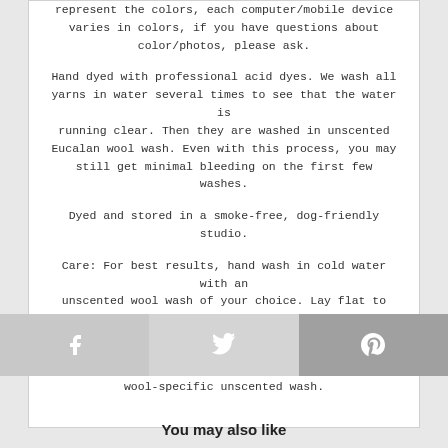represent the colors, each computer/mobile device varies in colors, if you have questions about color/photos, please ask.
Hand dyed with professional acid dyes. We wash all yarns in water several times to see that the water is running clear. Then they are washed in unscented Eucalan wool wash. Even with this process, you may still get minimal bleeding on the first few washes.
Dyed and stored in a smoke-free, dog-friendly studio.
Care: For best results, hand wash in cold water with an unscented wool wash of your choice. Lay flat to dry.
Detergent: I recommend Eucalan unscented, or another wool-specific unscented wash.
[Figure (infographic): Social sharing bar with Facebook, Twitter, and Pinterest buttons]
You may also like